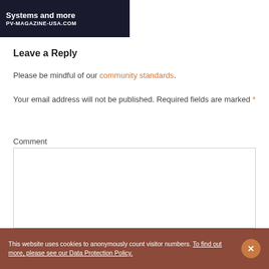[Figure (screenshot): Dark banner image with text 'Systems and more' and 'PV-MAGAZINE-USA.COM']
Leave a Reply
Please be mindful of our community standards.
Your email address will not be published. Required fields are marked *
Comment
[Figure (screenshot): Comment text input box, empty]
This website uses cookies to anonymously count visitor numbers. To find out more, please see our Data Protection Policy.